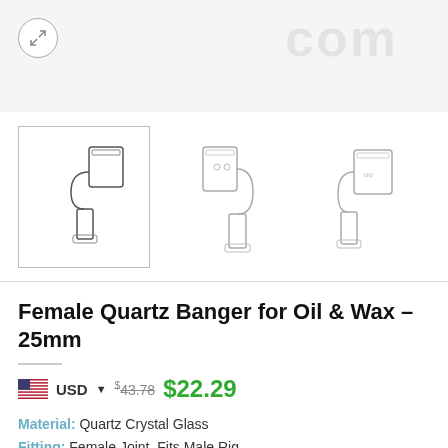[Figure (screenshot): E-commerce product page screenshot showing quartz banger product with thumbnail images, price, and specifications]
Female Quartz Banger for Oil & Wax – 25mm
USD  $43.78  $22.29
Material: Quartz Crystal Glass
Fitting: Female Joint, Fits Male Rig
Net Weight: 20g
Wall Thickness: 2mm